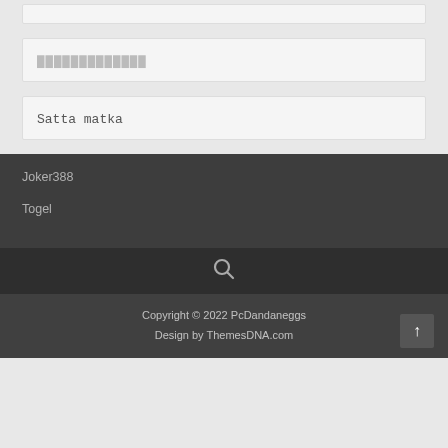█████████████
Satta matka
Joker388
Togel
[Figure (other): Search icon magnifying glass]
Copyright © 2022 PcDandaneggs
Design by ThemesDNA.com